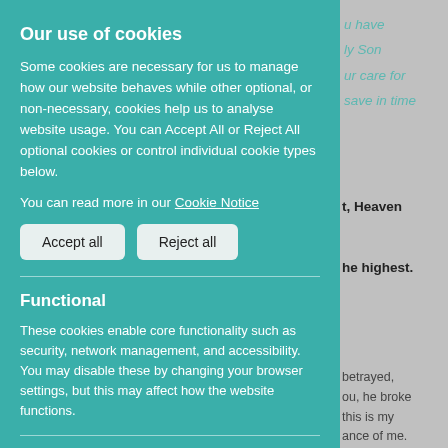We give you thanks, our God and Father, you have ... sustain us. Through your only Son ... and your care for ... and to save in time
... power and might, Heaven and earth are full of your glory. Hosanna in the highest.
... he was betrayed, ... you, he broke ... this is my body which is given for you. Do this in remembrance of me.
Our use of cookies
Some cookies are necessary for us to manage how our website behaves while other optional, or non-necessary, cookies help us to analyse website usage. You can Accept All or Reject All optional cookies or control individual cookie types below.
You can read more in our Cookie Notice
Accept all
Reject all
Functional
These cookies enable core functionality such as security, network management, and accessibility. You may disable these by changing your browser settings, but this may affect how the website functions.
Analytics cookies
Analytical cookies help us to improve our website by collecting and reporting information on its usage.